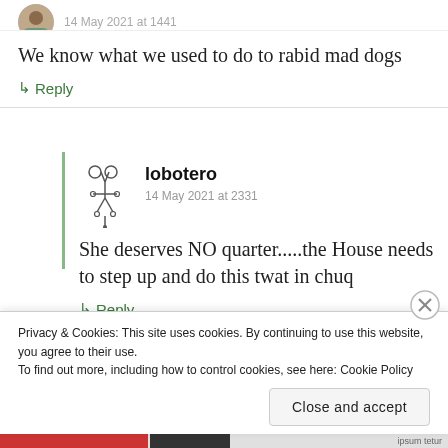14 May 2021 at 1441
We know what we used to do to rabid mad dogs
↳ Reply
lobotero
14 May 2021 at 2331
She deserves NO quarter.....the House needs to step up and do this twat in chuq
↳ Reply
Privacy & Cookies: This site uses cookies. By continuing to use this website, you agree to their use.
To find out more, including how to control cookies, see here: Cookie Policy
Close and accept